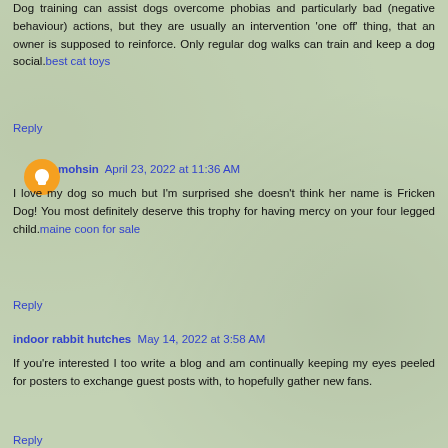Dog training can assist dogs overcome phobias and particularly bad (negative behaviour) actions, but they are usually an intervention 'one off' thing, that an owner is supposed to reinforce. Only regular dog walks can train and keep a dog social. best cat toys
Reply
mohsin  April 23, 2022 at 11:36 AM
I love my dog so much but I'm surprised she doesn't think her name is Fricken Dog! You most definitely deserve this trophy for having mercy on your four legged child. maine coon for sale
Reply
indoor rabbit hutches  May 14, 2022 at 3:58 AM
If you're interested I too write a blog and am continually keeping my eyes peeled for posters to exchange guest posts with, to hopefully gather new fans.
Reply